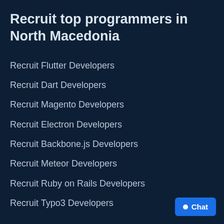Recruit top programmers in North Macedonia
Recruit Flutter Developers
Recruit Dart Developers
Recruit Magento Developers
Recruit Electron Developers
Recruit Backbone.js Developers
Recruit Meteor Developers
Recruit Ruby on Rails Developers
Recruit Typo3 Developers